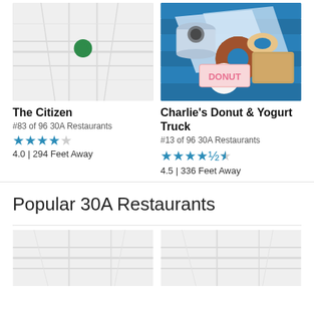[Figure (map): Map showing location of The Citizen restaurant with a green pin marker]
[Figure (photo): Photo of donuts and a drink on blue background with Charlie's Donut & Yogurt Truck branding]
The Citizen
#83 of 96 30A Restaurants
4.0 | 294 Feet Away
Charlie's Donut & Yogurt Truck
#13 of 96 30A Restaurants
4.5 | 336 Feet Away
Popular 30A Restaurants
[Figure (map): Map thumbnail for a 30A restaurant]
[Figure (map): Map thumbnail for a 30A restaurant]